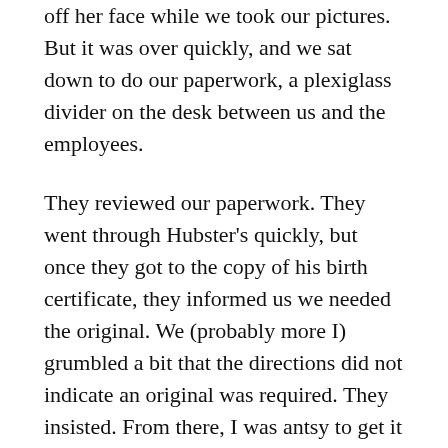off her face while we took our pictures. But it was over quickly, and we sat down to do our paperwork, a plexiglass divider on the desk between us and the employees.
They reviewed our paperwork. They went through Hubster's quickly, but once they got to the copy of his birth certificate, they informed us we needed the original. We (probably more I) grumbled a bit that the directions did not indicate an original was required. They insisted. From there, I was antsy to get it over with. We knew we'd have to run back home, get the originals, and get back to this busy post office.
But did I mention central Iowa got its first ever snow squall warning right before we left for our appointment? Frankly, I was not eager for us to be on the roads.